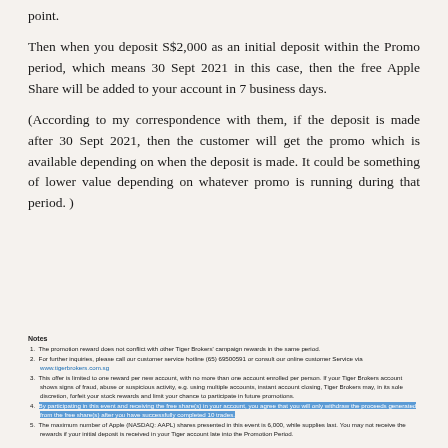point.
Then when you deposit S$2,000 as an initial deposit within the Promo period, which means 30 Sept 2021 in this case, then the free Apple Share will be added to your account in 7 business days.
(According to my correspondence with them, if the deposit is made after 30 Sept 2021, then the customer will get the promo which is available depending on when the deposit is made. It could be something of lower value depending on whatever promo is running during that period. )
Notes
1. The promotion reward does not conflict with other Tiger Brokers' campaign rewards in the same period.
2. For further inquiries, please call our customer service hotline (65) 69500591 or consult our online customer Service via www.tigerbrokers.com.sg
3. This offer is limited to one reward per new account, with no more than one account enrolled per person. If your Tiger Brokers account shows signs of fraud, abuse or suspicious activity, e.g. using multiple accounts, instant account closing, Tiger Brokers may, in its sole discretion, forfeit your stock rewards and limit your chance to participate in future promotions.
4. By participating in this event and receiving the free share(s) in your account, you agree that you will only withdraw the proceeds generated from the free share(s) after you have successfully completed 10 trades.
5. The maximum number of Apple (NASDAQ: AAPL) shares presented in this event is 6,000, while supplies last. You may not receive the rewards if your initial deposit is received in your Tiger account late into the Promotion Period.